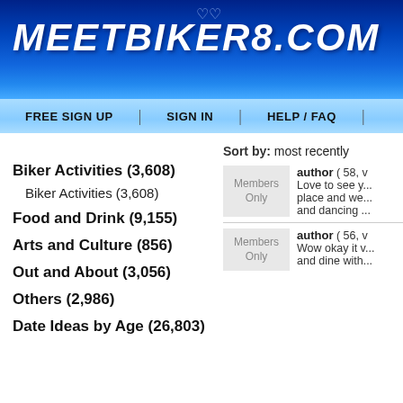MeetBiker8.com
FREE SIGN UP | SIGN IN | HELP / FAQ |
Biker Activities (3,608)
Biker Activities (3,608)
Food and Drink (9,155)
Arts and Culture (856)
Out and About (3,056)
Others (2,986)
Date Ideas by Age (26,803)
Sort by: most recently
author ( 58, ... Members Only - Love to see y... place and we... and dancing ...
author ( 56, ... Members Only - Wow okay it v... and dine with...